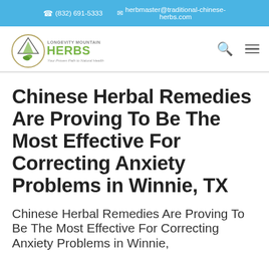(832) 691-5333  herbmaster@traditional-chinese-herbs.com
[Figure (logo): Longevity Mountain Herbs logo with circular mountain and leaf emblem, green text 'HERBS' and tagline 'Your Proven Path to Natural Health']
Chinese Herbal Remedies Are Proving To Be The Most Effective For Correcting Anxiety Problems in Winnie, TX
Chinese Herbal Remedies Are Proving To Be The Most Effective For Correcting Anxiety Problems in Winnie,